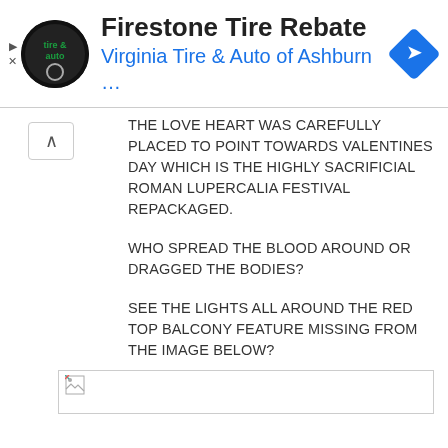[Figure (screenshot): Advertisement banner for Firestone Tire Rebate by Virginia Tire & Auto of Ashburn]
THE LOVE HEART WAS CAREFULLY PLACED TO POINT TOWARDS VALENTINES DAY WHICH IS THE HIGHLY SACRIFICIAL ROMAN LUPERCALIA FESTIVAL REPACKAGED.
WHO SPREAD THE BLOOD AROUND OR DRAGGED THE BODIES?
SEE THE LIGHTS ALL AROUND THE RED TOP BALCONY FEATURE MISSING FROM THE IMAGE BELOW?
[Figure (photo): Broken/missing image placeholder shown as a small icon in a bordered box]